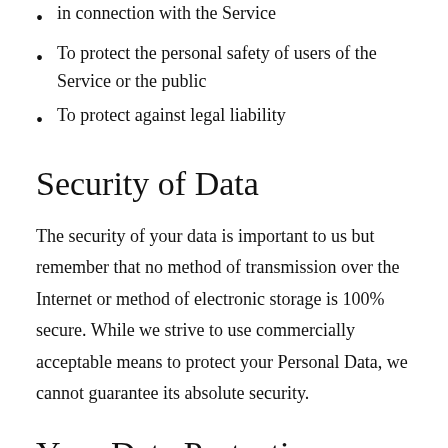in connection with the Service
To protect the personal safety of users of the Service or the public
To protect against legal liability
Security of Data
The security of your data is important to us but remember that no method of transmission over the Internet or method of electronic storage is 100% secure. While we strive to use commercially acceptable means to protect your Personal Data, we cannot guarantee its absolute security.
Your Data Protection